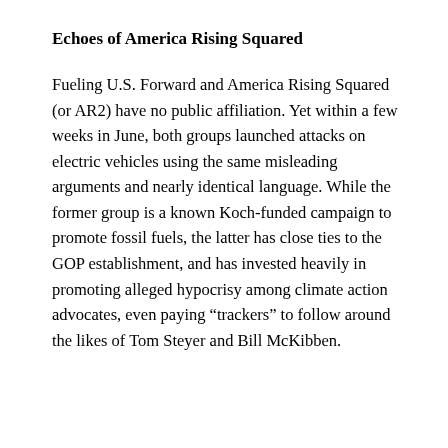Echoes of America Rising Squared
Fueling U.S. Forward and America Rising Squared (or AR2) have no public affiliation. Yet within a few weeks in June, both groups launched attacks on electric vehicles using the same misleading arguments and nearly identical language. While the former group is a known Koch‑funded campaign to promote fossil fuels, the latter has close ties to the GOP establishment, and has invested heavily in promoting alleged hypocrisy among climate action advocates, even paying “trackers” to follow around the likes of Tom Steyer and Bill McKibben.